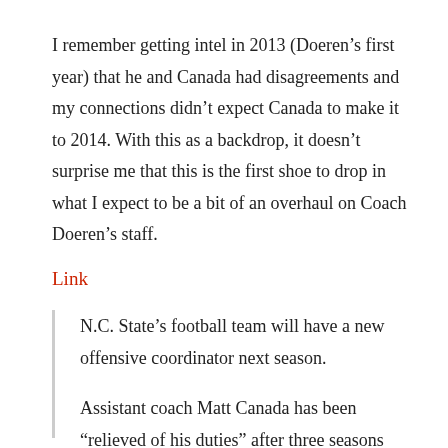I remember getting intel in 2013 (Doeren’s first year) that he and Canada had disagreements and my connections didn’t expect Canada to make it to 2014. With this as a backdrop, it doesn’t surprise me that this is the first shoe to drop in what I expect to be a bit of an overhaul on Coach Doeren’s staff.
Link
N.C. State’s football team will have a new offensive coordinator next season.
Assistant coach Matt Canada has been “relieved of his duties” after three seasons with the school,